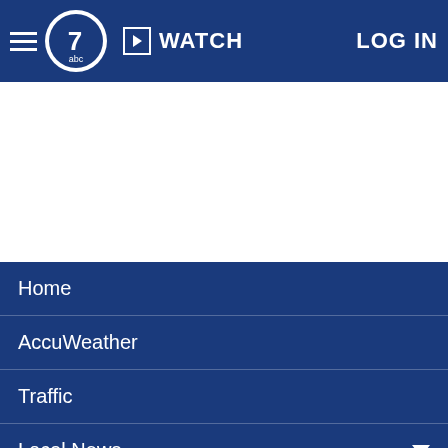ABC7 - WATCH - LOG IN
[Figure (screenshot): White content/ad area below header]
Home
AccuWeather
Traffic
Local News
Categories
Station Info
Shows